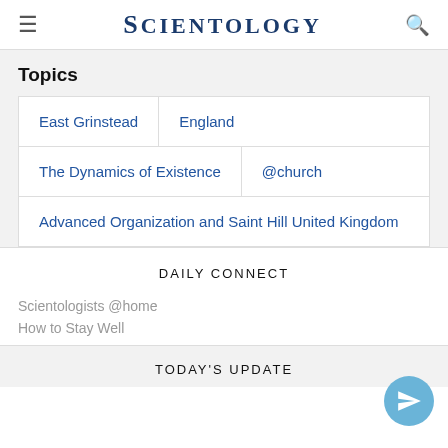SCIENTOLOGY
Topics
East Grinstead
England
The Dynamics of Existence
@church
Advanced Organization and Saint Hill United Kingdom
DAILY CONNECT
Scientologists @home
How to Stay Well
TODAY'S UPDATE